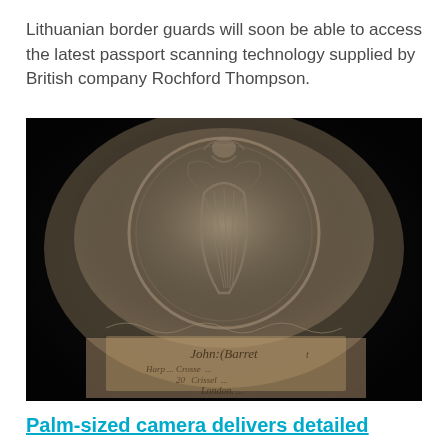Lithuanian border guards will soon be able to access the latest passport scanning technology supplied by British company Rochford Thompson.
[Figure (photo): Dark close-up photograph of an antique engraved pocket watch or medallion, showing a decorative coat of arms with a harp motif, with text below reading 'John (Barrett)' and other partially visible text including what appears to be 'London']
Palm-sized camera delivers detailed